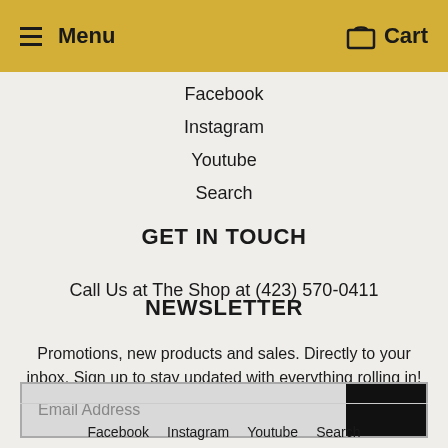Menu   Cart
Facebook
Instagram
Youtube
Search
GET IN TOUCH
Call Us at The Shop at (423) 570-0411
NEWSLETTER
Promotions, new products and sales. Directly to your inbox. Sign up to stay updated with everything rolling in!
Email Address
Facebook   Instagram   Youtube   Search